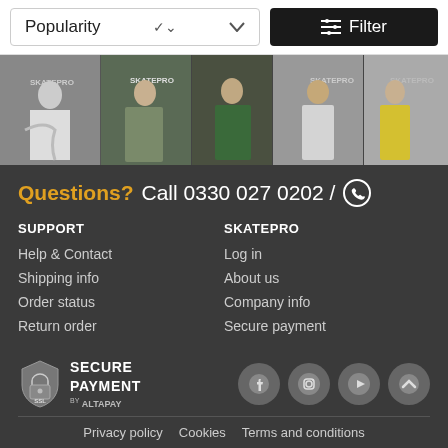Popularity  Filter
[Figure (photo): Banner image showing multiple people wearing SkatePro branded clothing and holding skateboards and equipment]
Questions? Call 0330 027 0202 / [WhatsApp icon]
SUPPORT
Help & Contact
Shipping info
Order status
Return order
SKATEPRO
Log in
About us
Company info
Secure payment
[Figure (logo): SSL Secure Payment by AltaPay badge with shield icon]
[Figure (illustration): Social media icons: Facebook, Instagram, YouTube, and scroll-to-top arrow]
Privacy policy   Cookies   Terms and conditions